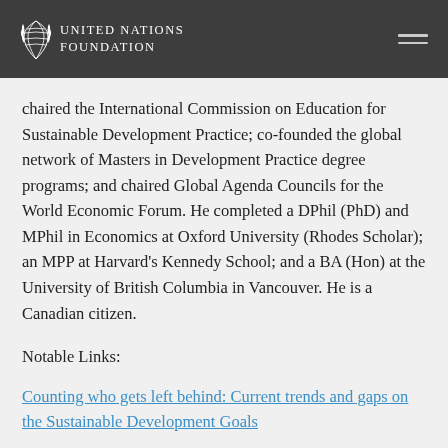UNITED NATIONS FOUNDATION
chaired the International Commission on Education for Sustainable Development Practice; co-founded the global network of Masters in Development Practice degree programs; and chaired Global Agenda Councils for the World Economic Forum. He completed a DPhil (PhD) and MPhil in Economics at Oxford University (Rhodes Scholar); an MPP at Harvard's Kennedy School; and a BA (Hon) at the University of British Columbia in Vancouver. He is a Canadian citizen.
Notable Links:
Counting who gets left behind: Current trends and gaps on the Sustainable Development Goals